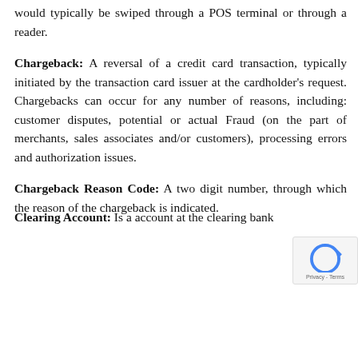would typically be swiped through a POS terminal or through a reader.
Chargeback: A reversal of a credit card transaction, typically initiated by the transaction card issuer at the cardholder's request. Chargebacks can occur for any number of reasons, including: customer disputes, potential or actual Fraud (on the part of merchants, sales associates and/or customers), processing errors and authorization issues.
Chargeback Reason Code: A two digit number, through which the reason of the chargeback is indicated.
Clearing Account: Is a account at the clearing bank